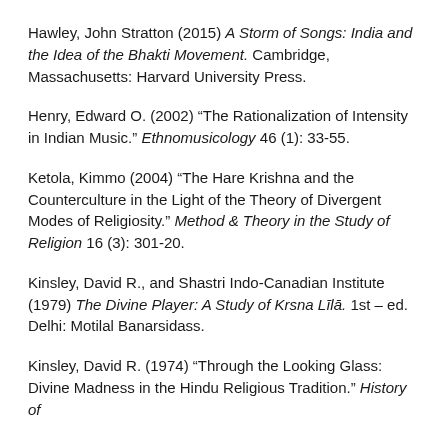Hawley, John Stratton (2015) A Storm of Songs: India and the Idea of the Bhakti Movement. Cambridge, Massachusetts: Harvard University Press.
Henry, Edward O. (2002) “The Rationalization of Intensity in Indian Music.” Ethnomusicology 46 (1): 33-55.
Ketola, Kimmo (2004) “The Hare Krishna and the Counterculture in the Light of the Theory of Divergent Modes of Religiosity.” Method & Theory in the Study of Religion 16 (3): 301-20.
Kinsley, David R., and Shastri Indo-Canadian Institute (1979) The Divine Player: A Study of Krsna Līlā. 1st – ed. Delhi: Motilal Banarsidass.
Kinsley, David R. (1974) “Through the Looking Glass: Divine Madness in the Hindu Religious Tradition.” History of